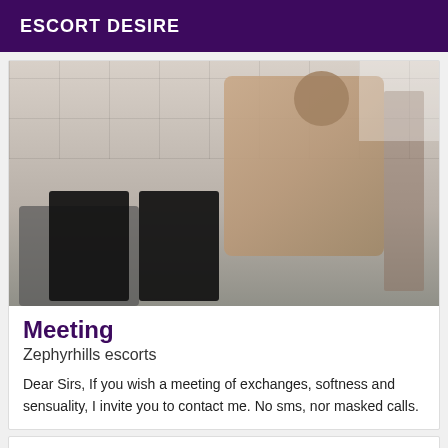ESCORT DESIRE
[Figure (photo): A person wearing a pink/beige ruffled top and black thigh-high boots, photographed in a room with tile flooring. The image appears rotated.]
Meeting
Zephyrhills escorts
Dear Sirs, If you wish a meeting of exchanges, softness and sensuality, I invite you to contact me. No sms, nor masked calls.